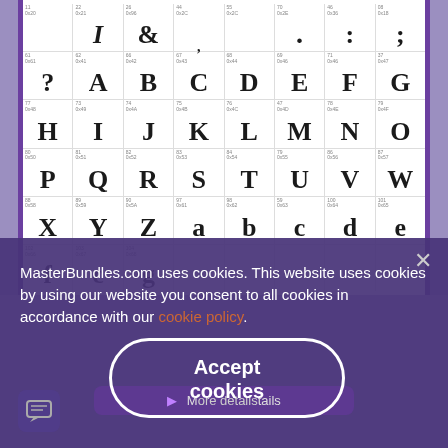[Figure (screenshot): Screenshot of MasterBundles.com showing a decorative western/slab-serif font character grid with letters A-Z and special characters arranged in rows with character codes.]
MasterBundles.com uses cookies. This website uses cookies by using our website you consent to all cookies in accordance with our cookie policy.
Accept cookies